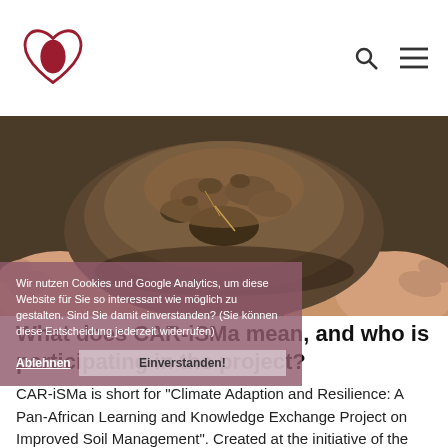CAR-iSMa website header with logo and navigation icons
[Figure (photo): Close-up photograph of hands holding dark soil/earth]
What does CAR-iSMa mean, and who is participating in the project?
CAR-iSMa is short for "Climate Adaption and Resilience: A Pan-African Learning and Knowledge Exchange Project on Improved Soil Management". Created at the initiative of the Aid by Trade Foundation, the project is being supported by Deutsche Gesellschaft für Internationale
Wir nutzen Cookies und Google Analytics, um diese Website für Sie so interessant wie möglich zu gestalten. Sind Sie damit einverstanden? (Sie können diese Entscheidung jederzeit widerrufen)
Ablehnen
Einverstanden!